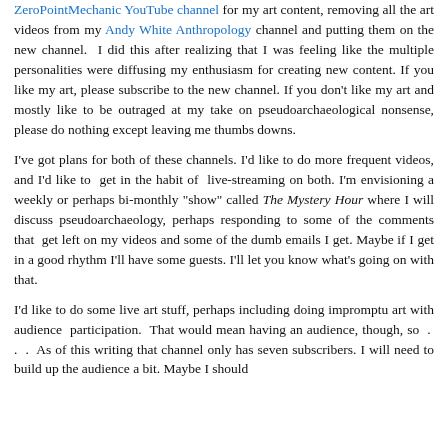ZeroPointMechanic YouTube channel for my art content, removing all the art videos from my Andy White Anthropology channel and putting them on the new channel. I did this after realizing that I was feeling like the multiple personalities were diffusing my enthusiasm for creating new content. If you like my art, please subscribe to the new channel. If you don't like my art and mostly like to be outraged at my take on pseudoarchaeological nonsense, please do nothing except leaving me thumbs downs.
I've got plans for both of these channels. I'd like to do more frequent videos, and I'd like to get in the habit of live-streaming on both. I'm envisioning a weekly or perhaps bi-monthly "show" called The Mystery Hour where I will discuss pseudoarchaeology, perhaps responding to some of the comments that get left on my videos and some of the dumb emails I get. Maybe if I get in a good rhythm I'll have some guests. I'll let you know what's going on with that.
I'd like to do some live art stuff, perhaps including doing impromptu art with audience participation. That would mean having an audience, though, so . . . As of this writing that channel only has seven subscribers. I will need to build up the audience a bit. Maybe I should